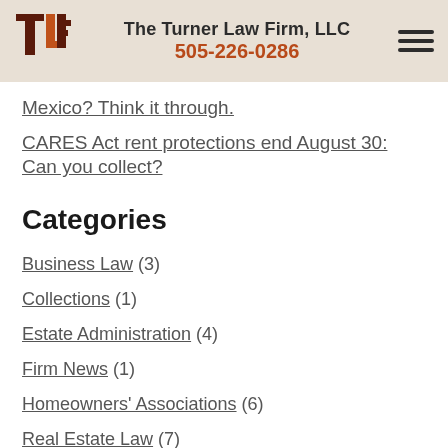The Turner Law Firm, LLC 505-226-0286
Mexico? Think it through.
CARES Act rent protections end August 30: Can you collect?
Categories
Business Law (3)
Collections (1)
Estate Administration (4)
Firm News (1)
Homeowners' Associations (6)
Real Estate Law (7)